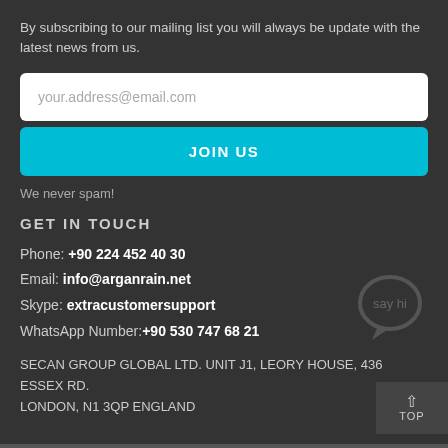By subscribing to our mailing list you will always be update with the latest news from us.
[Figure (other): Email input field with placeholder text 'your.address@email.com']
[Figure (other): JOIN US button in teal/cyan color]
We never spam!
GET IN TOUCH
Phone: +90 224 452 40 30
Email: info@arganrain.net
Skype: extracustomersupport
WhatsApp Number:+90 530 747 68 21
[Figure (illustration): Chat bubble icon with 'say hi' text]
SECAN GROUP GLOBAL LTD. UNIT J1, LEORY HOUSE, 436 ESSEX RD. LONDON, N1 3QP ENGLAND
[Figure (other): TOP button with upward arrow]